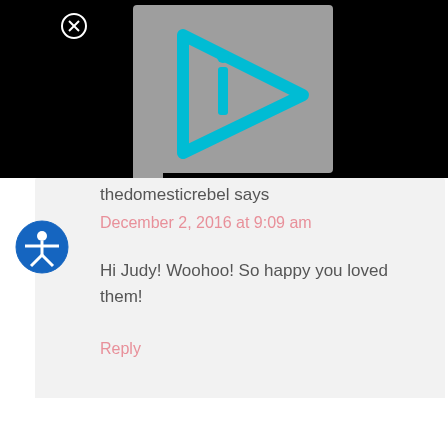[Figure (screenshot): Black background with a gray rectangle containing a cyan/teal play button icon with an 'i' letter inside, resembling a video player logo. A circled X close button is visible in the upper left of the black area.]
[Figure (logo): Blue circle accessibility icon showing a person figure with arms outstretched]
thedomesticrebel says
December 2, 2016 at 9:09 am
Hi Judy! Woohoo! So happy you loved them!
Reply